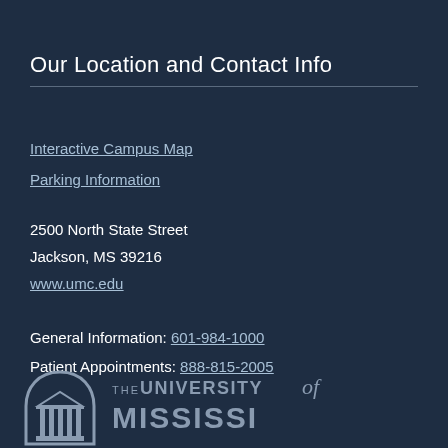Our Location and Contact Info
Interactive Campus Map
Parking Information
2500 North State Street
Jackson, MS 39216
www.umc.edu
General Information: 601-984-1000
Patient Appointments: 888-815-2005
[Figure (logo): University of Mississippi Medical Center logo with building icon and text THE UNIVERSITY of MISSISSIPPI]